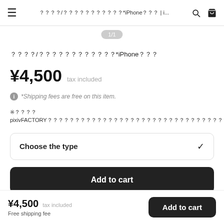≡  ？？？？/？？？？？？？？？？？*iPhone？？？ | i...  🔍  🛒
1/1
？？？？/？？？？？？？？？？？？*iPhone？？？
¥4,500  tax included
ℹ *Shipping fees are free on this item.
※？？？？pixivFACTORY？？？？？？？？？？？？？？？？？？？？？？？？？？？？？？？？？？？？？？？？？？？？？？？？
Choose the type  ∨
Add to cart
¥4,500  tax included  Free shipping fee  |  Add to cart